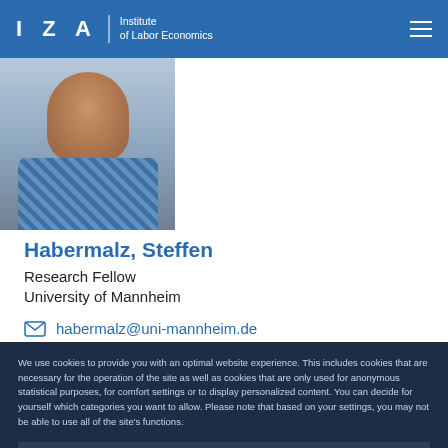IZA Institute of Labor Economics
[Figure (photo): Profile photo of Steffen Habermalz, a man in a checkered shirt, smiling]
Habermalz, Steffen
Research Fellow
University of Mannheim
habermalz@uni-mannheim.de
We use cookies to provide you with an optimal website experience. This includes cookies that are necessary for the operation of the site as well as cookies that are only used for anonymous statistical purposes, for comfort settings or to display personalized content. You can decide for yourself which categories you want to allow. Please note that based on your settings, you may not be able to use all of the site's functions.
Configure consent
Accept all